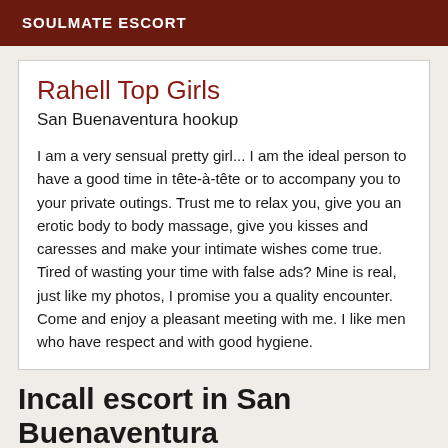SOULMATE ESCORT
Rahell Top Girls
San Buenaventura hookup
I am a very sensual pretty girl... I am the ideal person to have a good time in tête-à-tête or to accompany you to your private outings. Trust me to relax you, give you an erotic body to body massage, give you kisses and caresses and make your intimate wishes come true. Tired of wasting your time with false ads? Mine is real, just like my photos, I promise you a quality encounter. Come and enjoy a pleasant meeting with me. I like men who have respect and with good hygiene.
Incall escort in San Buenaventura